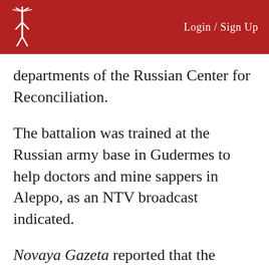Login / Sign Up
departments of the Russian Center for Reconciliation.
The battalion was trained at the Russian army base in Gudermes to help doctors and mine sappers in Aleppo, as an NTV broadcast indicated.
Novaya Gazeta reported that the military police made up of Chechen natives was assigned to guard a concert planned by Russia's forces. Also, by an Ensemble...